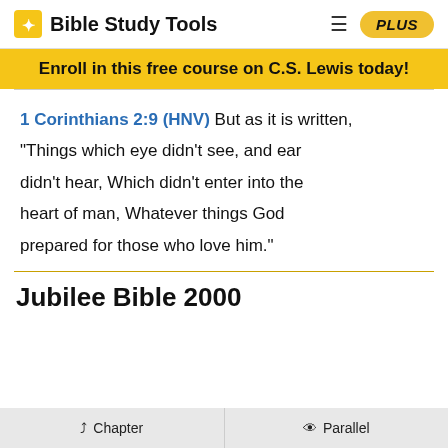Bible Study Tools
Enroll in this free course on C.S. Lewis today!
1 Corinthians 2:9 (HNV) But as it is written, "Things which eye didn't see, and ear didn't hear, Which didn't enter into the heart of man, Whatever things God prepared for those who love him."
Jubilee Bible 2000
Chapter   Parallel